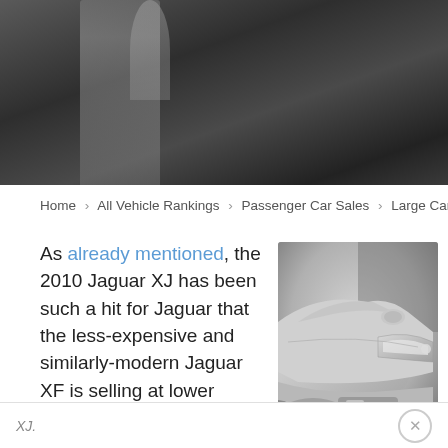[Figure (photo): Hero image showing partial view of a person standing, dark background, blurred/out of focus]
Home > All Vehicle Rankings > Passenger Car Sales > Large Car Sales
As already mentioned, the 2010 Jaguar XJ has been such a hit for Jaguar that the less-expensive and similarly-modern Jaguar XF is selling at lower volumes. XF sales were cut in half in September 2010, XJ sales jumped an astounding 707% over the old-style Jaguar XJ.
[Figure (photo): Close-up photo of the front of a silver/white car, showing headlight and front bumper area]
XJ.